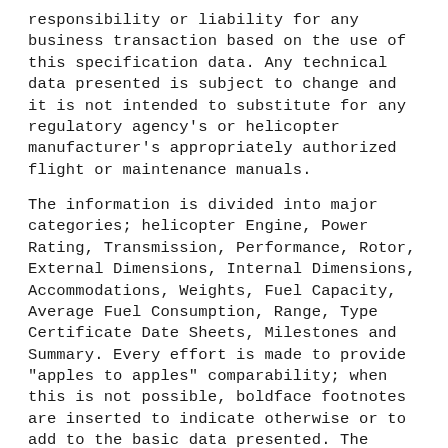responsibility or liability for any business transaction based on the use of this specification data. Any technical data presented is subject to change and it is not intended to substitute for any regulatory agency's or helicopter manufacturer's appropriately authorized flight or maintenance manuals.
The information is divided into major categories; helicopter Engine, Power Rating, Transmission, Performance, Rotor, External Dimensions, Internal Dimensions, Accommodations, Weights, Fuel Capacity, Average Fuel Consumption, Range, Type Certificate Date Sheets, Milestones and Summary. Every effort is made to provide "apples to apples" comparability; when this is not possible, boldface footnotes are inserted to indicate otherwise or to add to the basic data presented. The definitions for each category are presented in the section marked "Specification Definitions," which immediately follows this section.